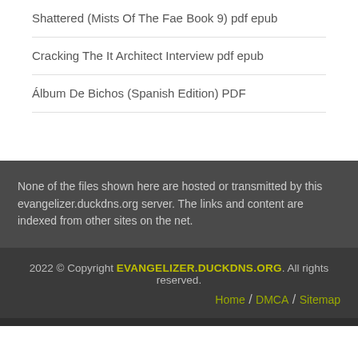Shattered (Mists Of The Fae Book 9) pdf epub
Cracking The It Architect Interview pdf epub
Álbum De Bichos (Spanish Edition) PDF
None of the files shown here are hosted or transmitted by this evangelizer.duckdns.org server. The links and content are indexed from other sites on the net.
2022 © Copyright EVANGELIZER.DUCKDNS.ORG. All rights reserved. Home / DMCA / Sitemap